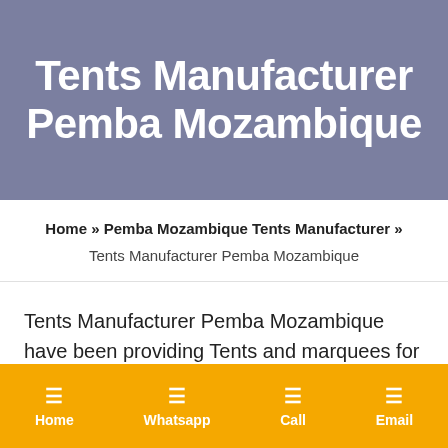Tents Manufacturer Pemba Mozambique
Home » Pemba Mozambique Tents Manufacturer » Tents Manufacturer Pemba Mozambique
Tents Manufacturer Pemba Mozambique have been providing Tents and marquees for over 20 years and
Home | Whatsapp | Call | Email